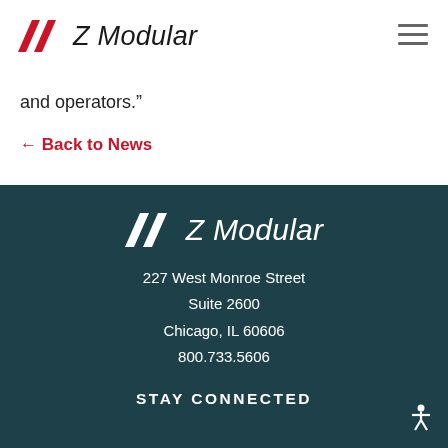Z Modular
and operators."
← Back to News
Z Modular
227 West Monroe Street
Suite 2600
Chicago, IL 60606
800.733.5606
STAY CONNECTED